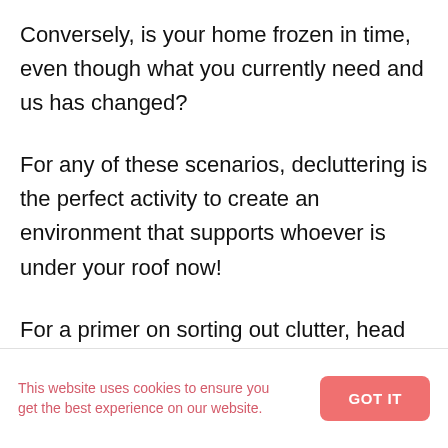Conversely, is your home frozen in time, even though what you currently need and us has changed?
For any of these scenarios, decluttering is the perfect activity to create an environment that supports whoever is under your roof now!
For a primer on sorting out clutter, head here: Clutter Definition: What Exactly Is It So We Can Confidently Declutter With
This website uses cookies to ensure you get the best experience on our website.